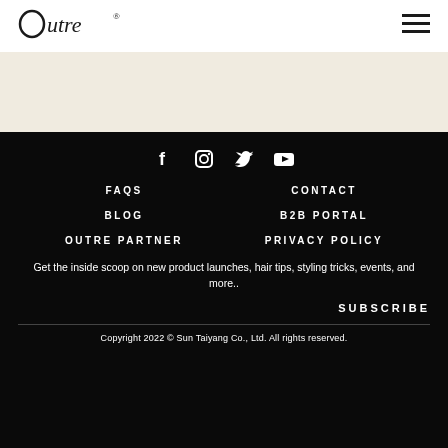[Figure (logo): Outre brand logo with stylized circle-O and italic text]
[Figure (illustration): Hamburger menu icon (three horizontal lines) in top right corner]
[Figure (illustration): Social media icons row: Facebook, Instagram, Twitter, YouTube]
FAQS
CONTACT
BLOG
B2B PORTAL
OUTRE PARTNER
PRIVACY POLICY
Get the inside scoop on new product launches, hair tips, styling tricks, events, and more..
SUBSCRIBE
Copyright 2022 © Sun Taiyang Co., Ltd. All rights reserved.